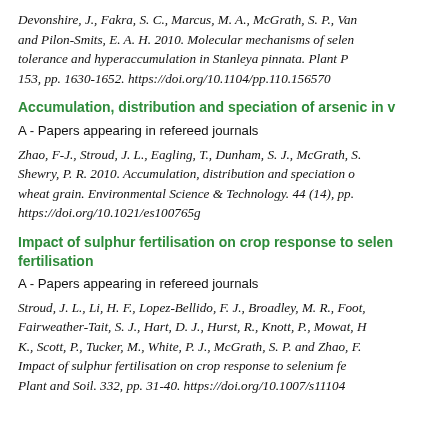Devonshire, J., Fakra, S. C., Marcus, M. A., McGrath, S. P., Van and Pilon-Smits, E. A. H. 2010. Molecular mechanisms of selen tolerance and hyperaccumulation in Stanleya pinnata. Plant P 153, pp. 1630-1652. https://doi.org/10.1104/pp.110.156570
Accumulation, distribution and speciation of arsenic in v
A - Papers appearing in refereed journals
Zhao, F-J., Stroud, J. L., Eagling, T., Dunham, S. J., McGrath, S. Shewry, P. R. 2010. Accumulation, distribution and speciation o wheat grain. Environmental Science & Technology. 44 (14), pp. https://doi.org/10.1021/es100765g
Impact of sulphur fertilisation on crop response to selen fertilisation
A - Papers appearing in refereed journals
Stroud, J. L., Li, H. F., Lopez-Bellido, F. J., Broadley, M. R., Foot, Fairweather-Tait, S. J., Hart, D. J., Hurst, R., Knott, P., Mowat, H K., Scott, P., Tucker, M., White, P. J., McGrath, S. P. and Zhao, F Impact of sulphur fertilisation on crop response to selenium fe Plant and Soil. 332, pp. 31-40. https://doi.org/10.1007/s11104